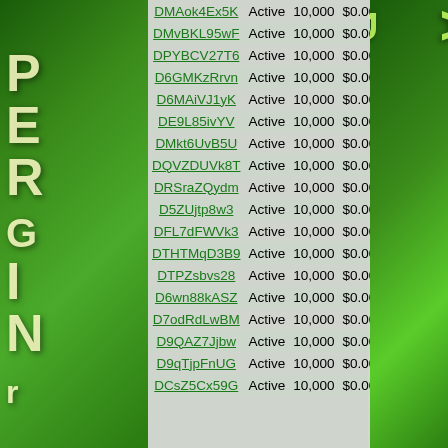| ID | Status | Amount | Price |
| --- | --- | --- | --- |
| DMAok4Ex5K | Active | 10,000 | $0.00 |
| DMvBKL95wF | Active | 10,000 | $0.00 |
| DPYBCV27T6 | Active | 10,000 | $0.00 |
| D6GMKzRrvn | Active | 10,000 | $0.00 |
| D6MAiVJ1yK | Active | 10,000 | $0.00 |
| DE9L85ivYV | Active | 10,000 | $0.00 |
| DMkt6UvB5U | Active | 10,000 | $0.00 |
| DQVZDUVk8T | Active | 10,000 | $0.00 |
| DRSraZQydm | Active | 10,000 | $0.00 |
| D5ZUjtp8w3 | Active | 10,000 | $0.00 |
| DFL7dFWVk3 | Active | 10,000 | $0.00 |
| DTHTMqD3B9 | Active | 10,000 | $0.00 |
| DTPZsbvs28 | Active | 10,000 | $0.00 |
| D6wn88kASZ | Active | 10,000 | $0.00 |
| D7odRdLwBM | Active | 10,000 | $0.00 |
| D9QAZ7Jjbw | Active | 10,000 | $0.00 |
| D9qTjpFnUG | Active | 10,000 | $0.00 |
| DCsZ5Cx59G | Active | 10,000 | $0.00 |